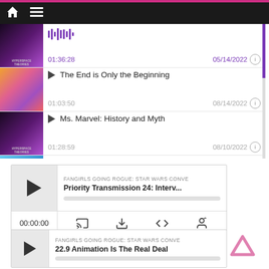[Figure (screenshot): Mobile podcast app screenshot showing navigation bar with home and menu icons, a list of podcast episodes with thumbnails, playback times and dates, and two podcast player widgets at the bottom]
01:36:28 | 05/14/2022
The End is Only the Beginning | 01:03:50 | 08/14/2022
Ms. Marvel: History and Myth | 01:28:59 | 08/10/2022
Seeing The World Through Kamala Khan's Eyes
FANGIRLS GOING ROGUE: STAR WARS CONVE
Priority Transmission 24: Interv...
00:00:00
FANGIRLS GOING ROGUE: STAR WARS CONVE
22.9 Animation Is The Real Deal